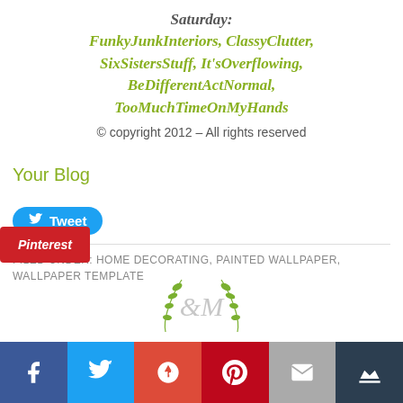Saturday:
FunkyJunkInteriors, ClassyClutter, SixSistersStuff, It'sOverflowing, BeDifferentActNormal, TooMuchTimeOnMyHands
© copyright 2012 – All rights reserved
[Figure (logo): Pinterest button logo (red background with white Pinterest text)]
Your Blog
[Figure (other): Twitter Tweet button (blue rounded rectangle with bird icon and 'Tweet' text)]
FILED UNDER: HOME DECORATING, PAINTED WALLPAPER, WALLPAPER TEMPLATE
[Figure (logo): Decorative script logo with olive branch wreath and cursive initials]
Social share bar with Facebook, Twitter, Google+, Pinterest, Email, Crown icons